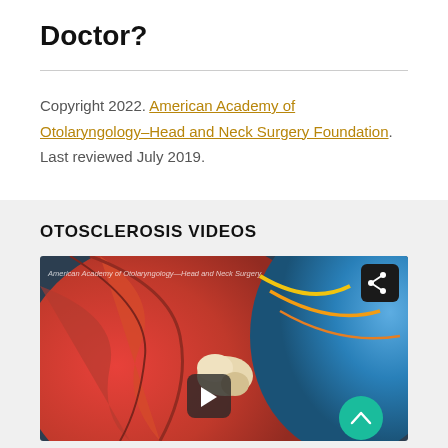Doctor?
Copyright 2022. American Academy of Otolaryngology–Head and Neck Surgery Foundation. Last reviewed July 2019.
OTOSCLEROSIS VIDEOS
[Figure (photo): Video thumbnail showing an anatomical illustration of the inner ear (otosclerosis). Shows ear canal structures with red/orange tissue and blue background. Overlay text: American Academy of Otolaryngology–Head and Neck Surgery. Includes a play button, share button, and scroll-up button.]